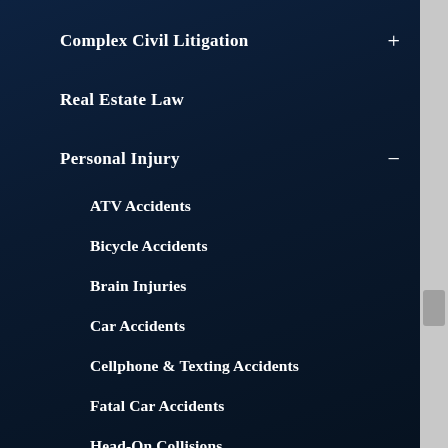Complex Civil Litigation
Real Estate Law
Personal Injury
ATV Accidents
Bicycle Accidents
Brain Injuries
Car Accidents
Cellphone & Texting Accidents
Fatal Car Accidents
Head-On Collisions